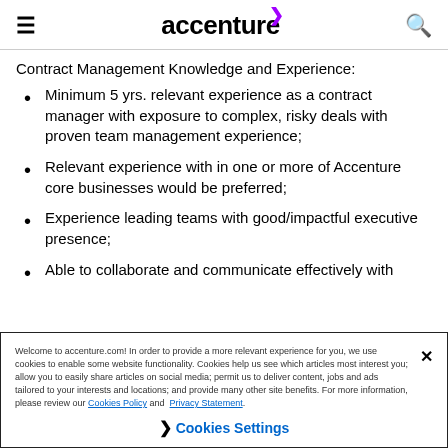accenture
Contract Management Knowledge and Experience:
Minimum 5 yrs. relevant experience as a contract manager with exposure to complex, risky deals with proven team management experience;
Relevant experience with in one or more of Accenture core businesses would be preferred;
Experience leading teams with good/impactful executive presence;
Able to collaborate and communicate effectively with
Welcome to accenture.com! In order to provide a more relevant experience for you, we use cookies to enable some website functionality. Cookies help us see which articles most interest you; allow you to easily share articles on social media; permit us to deliver content, jobs and ads tailored to your interests and locations; and provide many other site benefits. For more information, please review our Cookies Policy and Privacy Statement.
Cookies Settings